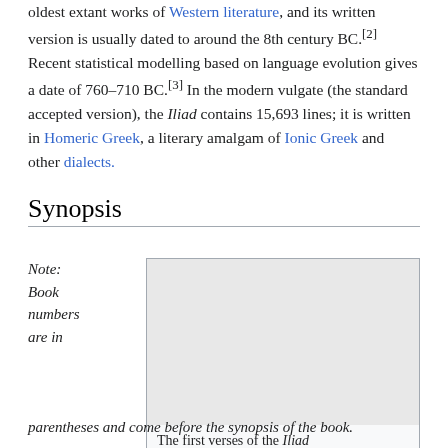oldest extant works of Western literature, and its written version is usually dated to around the 8th century BC.[2] Recent statistical modelling based on language evolution gives a date of 760–710 BC.[3] In the modern vulgate (the standard accepted version), the Iliad contains 15,693 lines; it is written in Homeric Greek, a literary amalgam of Ionic Greek and other dialects.
Synopsis
Note: Book numbers are in
[Figure (illustration): Manuscript image showing the first verses of the Iliad, with a gray rectangular image area and caption below reading 'The first verses of the Iliad']
The first verses of the Iliad
parentheses and come before the synopsis of the book.